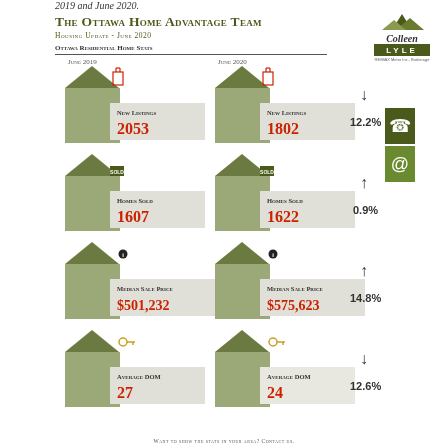2019 and June 2020.
The Ottawa Home Advantage Team
Housing Update - June 2020
Ottawa Residential Home Stats
[Figure (infographic): Ottawa residential home stats infographic comparing June 2019 and June 2020 for New Listings (2053 vs 1802, -12.2%), Homes Sold (1607 vs 1622, +0.9%), Median Sale Price ($501,232 vs $575,623, +14.8%), Average DOM (27 vs 24, -12.6%). Each stat shown with house icons and stat boxes.]
WANT TO SHOW THE STATS IN YOUR AREA? CONTACT US.